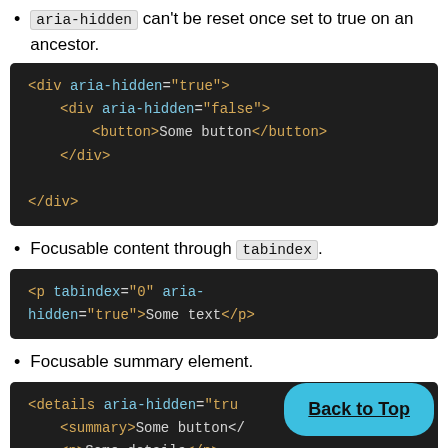aria-hidden can't be reset once set to true on an ancestor.
[Figure (screenshot): Code block showing: <div aria-hidden="true">  <div aria-hidden="false">    <button>Some button</button>  </div></div>]
Focusable content through tabindex.
[Figure (screenshot): Code block showing: <p tabindex="0" aria-hidden="true">Some text</p>]
Focusable summary element.
[Figure (screenshot): Code block showing: <details aria-hidden="true">  <summary>Some button<...  <p>Some details</p>]